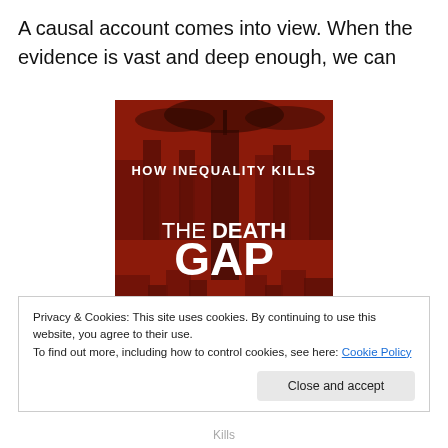A causal account comes into view. When the evidence is vast and deep enough, we can
[Figure (illustration): Book cover of 'The Death Gap: How Inequality Kills' with a red-toned cityscape viewed from above, white bold text reading THE DEATH GAP at the bottom and HOW INEQUALITY KILLS at the top]
Privacy & Cookies: This site uses cookies. By continuing to use this website, you agree to their use.
To find out more, including how to control cookies, see here: Cookie Policy
Close and accept
Kills